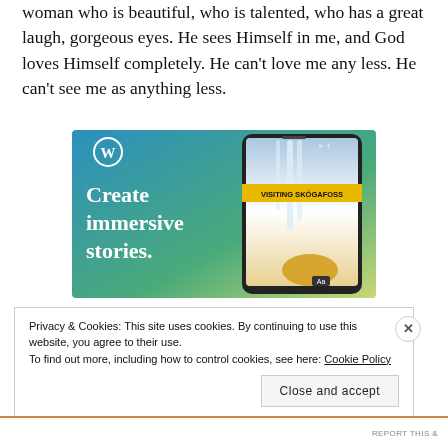woman who is beautiful, who is talented, who has a great laugh, gorgeous eyes. He sees Himself in me, and God loves Himself completely. He can't love me any less. He can't see me as anything less.
[Figure (illustration): WordPress advertisement banner with blue-green gradient background, WordPress logo (W in circle) at top, white text 'Create immersive stories.' on left, and a smartphone mockup on the right showing a waterfall scene with a yellow banner 'VISITING SKÓGAFOSS' overlaid.]
Privacy & Cookies: This site uses cookies. By continuing to use this website, you agree to their use.
To find out more, including how to control cookies, see here: Cookie Policy
Close and accept